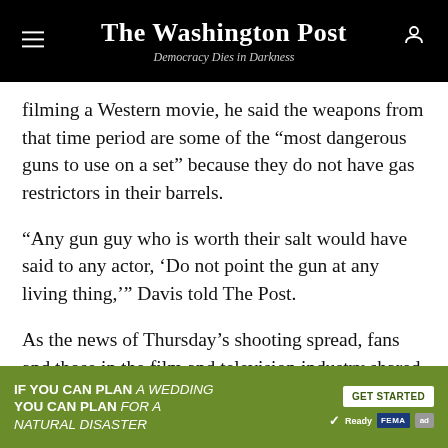The Washington Post
Democracy Dies in Darkness
filming a Western movie, he said the weapons from that time period are some of the “most dangerous guns to use on a set” because they do not have gas restrictors in their barrels.
“Any gun guy who is worth their salt would have said to any actor, ‘Do not point the gun at any living thing,’” Davis told The Post.
As the news of Thursday’s shooting spread, fans and those in the film and television industry shared why incidents such as the one in New Mexico should be
[Figure (other): Advertisement banner: green background with text ‘IF YOU CAN PLAN A WEDDING YOU CAN PLAN FOR A NATURAL DISASTER’ with GET STARTED button and Ready.gov / FEMA logos]